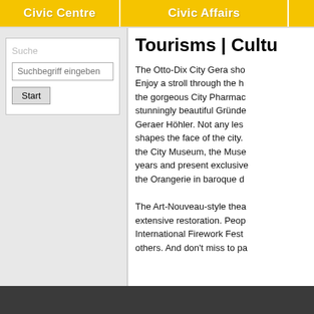Civic Centre | Civic Affairs
Suche
Suchbegriff eingeben
Start
Tourisms | Cultu...
The Otto-Dix City Gera sho... Enjoy a stroll through the h... the gorgeous City Pharmac... stunningly beautiful Gründe... Geraer Höhler. Not any les... shapes the face of the city. the City Museum, the Muse... years and present exclusiv... the Orangerie in baroque d...
The Art-Nouveau-style thea... extensive restoration. Peop... International Firework Fest... others. And don't miss to pa...